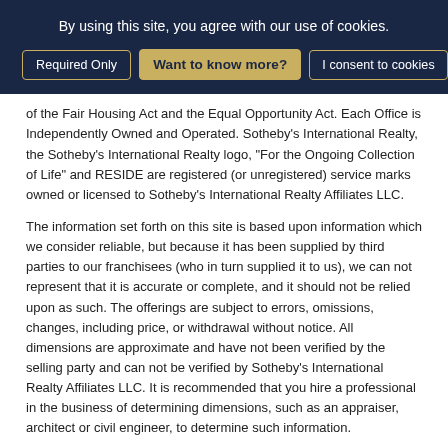By using this site, you agree with our use of cookies.
Required Only | Want to know more? | I consent to cookies
of the Fair Housing Act and the Equal Opportunity Act. Each Office is Independently Owned and Operated. Sotheby's International Realty, the Sotheby's International Realty logo, "For the Ongoing Collection of Life" and RESIDE are registered (or unregistered) service marks owned or licensed to Sotheby's International Realty Affiliates LLC.
The information set forth on this site is based upon information which we consider reliable, but because it has been supplied by third parties to our franchisees (who in turn supplied it to us), we can not represent that it is accurate or complete, and it should not be relied upon as such. The offerings are subject to errors, omissions, changes, including price, or withdrawal without notice. All dimensions are approximate and have not been verified by the selling party and can not be verified by Sotheby's International Realty Affiliates LLC. It is recommended that you hire a professional in the business of determining dimensions, such as an appraiser, architect or civil engineer, to determine such information.
Texas Real Estate Commission Information About Brokerage Services